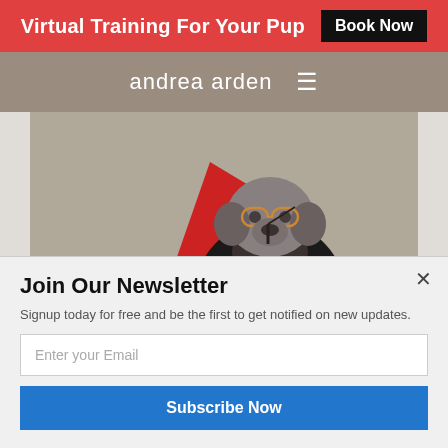Virtual Training For Your Pup  Book Now
andrea arden
[Figure (photo): A dog dressed in a black graduation/Harry Potter-style costume with glasses and a wand, sitting on a floor next to a red cone, photographed from above.]
Join Our Newsletter
Signup today for free and be the first to get notified on new updates.
Enter your Email
Subscribe Now